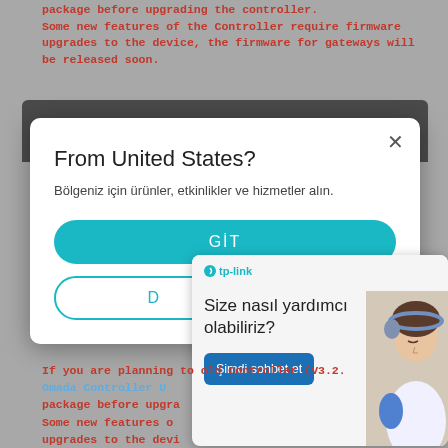package before upgrading the controller. Some new features of the Controller require firmware upgrades to the device, the firmware for gateways will be released soon.
[Figure (screenshot): A web browser modal popup dialog with title 'From United States?' in English, subtitle in Turkish 'Bölgeniz için ürünler, etkinlikler ve hizmetler alın.', a teal 'GİT' button, and a partially visible teal outlined 'D' button. A close X in the top right. Overlapping chat widget from TP-Link showing 'Size nasıl yardımcı olabiliriz?' with a 'Şimdi sohbet et' button and image of a woman with headset.]
If you are planning to old Controller (V3.2... Omada Controller U... package before upgra... Some new features o... upgrades to the devi... the firmware for gate...